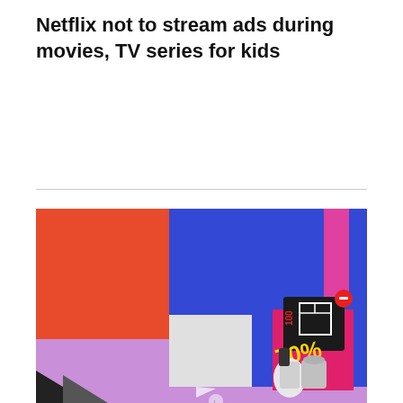Netflix not to stream ads during movies, TV series for kids
[Figure (illustration): Colorful abstract geometric illustration with orange, blue, purple and pink rectangles. In the lower right corner there is a product box showing kitchen appliances with '70%' discount text in pink and red, with a small red circle with a minus icon. A dark triangle shape and a partial arrow appear at the bottom.]